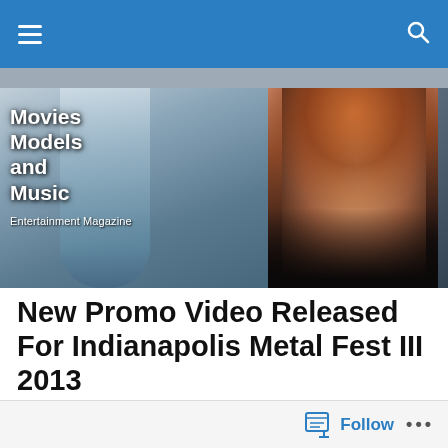[Figure (photo): Movies Models and Music Entertainment Magazine banner with celebrity photos]
New Promo Video Released For Indianapolis Metal Fest III 2013
[Figure (photo): Concert crowd photo for Indianapolis Metal Fest]
Follow ...